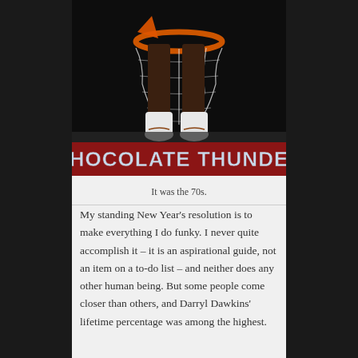[Figure (photo): Book cover or magazine image showing basketball player's legs and sneakers cutting net from hoop, with bold red banner reading 'CHOCOLATE THUNDER' in large white/light letters]
It was the 70s.
My standing New Year's resolution is to make everything I do funky. I never quite accomplish it – it is an aspirational guide, not an item on a to-do list – and neither does any other human being. But some people come closer than others, and Darryl Dawkins' lifetime percentage was among the highest.